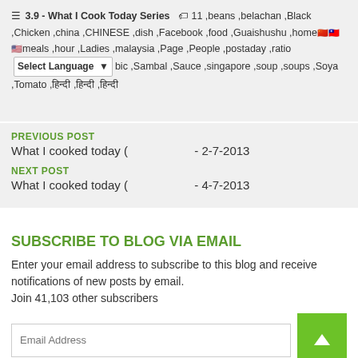☰ 3.9 - What I Cook Today Series  🏷 11 ,beans ,belachan ,Black ,Chicken ,china ,CHINESE ,dish ,Facebook ,food ,Guaishushu ,home 🇨🇳🇹🇼🇺🇸 meals ,hour ,Ladies ,malaysia ,Page ,People ,postaday ,ratio [Select Language ▼] bic ,Sambal ,Sauce ,singapore ,soup ,soups ,Soya ,Tomato ,中文标签 ,粵語 ,語文
PREVIOUS POST
What I cooked today (                    - 2-7-2013
NEXT POST
What I cooked today (                    - 4-7-2013
SUBSCRIBE TO BLOG VIA EMAIL
Enter your email address to subscribe to this blog and receive notifications of new posts by email.
Join 41,103 other subscribers